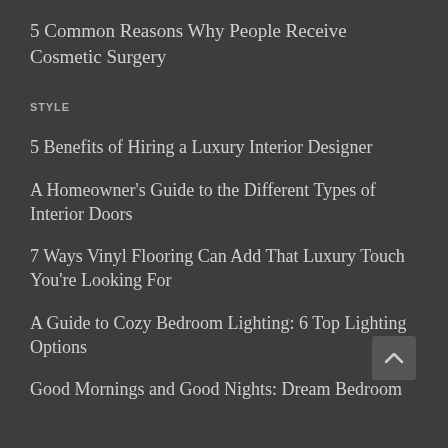5 Common Reasons Why People Receive Cosmetic Surgery
STYLE
5 Benefits of Hiring a Luxury Interior Designer
A Homeowner's Guide to the Different Types of Interior Doors
7 Ways Vinyl Flooring Can Add That Luxury Touch You're Looking For
A Guide to Cozy Bedroom Lighting: 6 Top Lighting Options
Good Mornings and Good Nights: Dream Bedroom